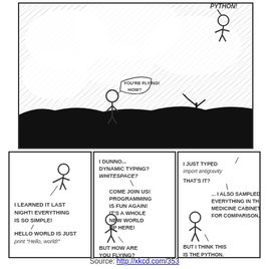[Figure (illustration): xkcd comic strip #353 about Python. Top panel: stick figure on ground looking up at another stick figure flying, with speech bubbles 'YOU'RE FLYING! HOW?' and 'PYTHON!' against a dramatic sky. Bottom three panels: left panel shows a flying stick figure with text 'I LEARNED IT LAST NIGHT! EVERYTHING IS SO SIMPLE! HELLO WORLD IS JUST print "Hello, world!"'; middle panel shows stick figures with text 'I DUNNO... DYNAMIC TYPING? WHITESPACE? COME JOIN US! PROGRAMMING IS FUN AGAIN! IT'S A WHOLE NEW WORLD UP HERE! BUT HOW ARE YOU FLYING?'; right panel shows stick figure with text 'I JUST TYPED import antigravity THAT'S IT? ... I ALSO SAMPLED EVERYTHING IN THE MEDICINE CABINET FOR COMPARISON. BUT I THINK THIS IS THE PYTHON.']
Source: http://xkcd.com/353